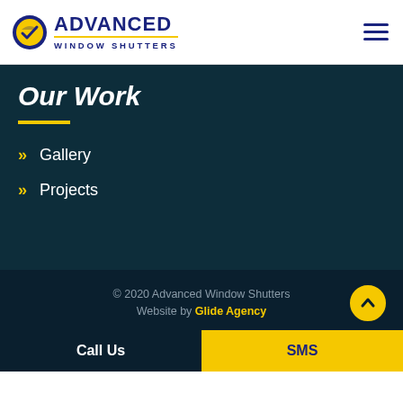[Figure (logo): Advanced Window Shutters logo with shield/checkmark icon and company name in dark blue with yellow underline]
Our Work
Gallery
Projects
© 2020 Advanced Window Shutters
Website by Glide Agency
Call Us | SMS